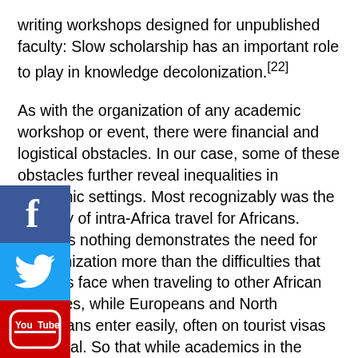writing workshops designed for unpublished faculty: Slow scholarship has an important role to play in knowledge decolonization.[22]
As with the organization of any academic workshop or event, there were financial and logistical obstacles. In our case, some of these obstacles further reveal inequalities in academic settings. Most recognizably was the difficulty of intra-Africa travel for Africans. Perhaps nothing demonstrates the need for decolonization more than the difficulties that Africans face when traveling to other African countries, while Europeans and North Americans enter easily, often on tourist visas on-arrival. So that while academics in the North decry the perils of “fortress Europe,”[23] structural and economic inequalities extend beyond the geography of Europe, creating exclusions in the South that we continue to address.
[Figure (other): Social media sharing buttons: Facebook (blue), Twitter (light blue), YouTube (red), WhatsApp (green) arranged vertically on the left side of the page]